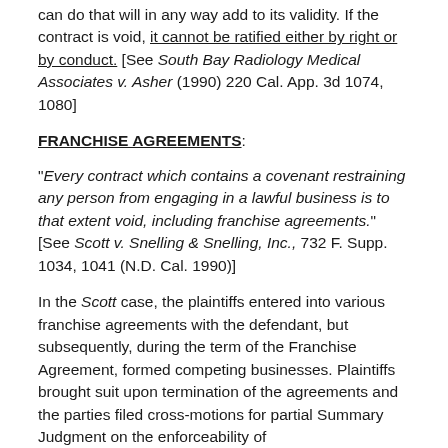can do that will in any way add to its validity. If the contract is void, it cannot be ratified either by right or by conduct. [See South Bay Radiology Medical Associates v. Asher (1990) 220 Cal. App. 3d 1074, 1080]
FRANCHISE AGREEMENTS:
"Every contract which contains a covenant restraining any person from engaging in a lawful business is to that extent void, including franchise agreements." [See Scott v. Snelling & Snelling, Inc., 732 F. Supp. 1034, 1041 (N.D. Cal. 1990)]
In the Scott case, the plaintiffs entered into various franchise agreements with the defendant, but subsequently, during the term of the Franchise Agreement, formed competing businesses. Plaintiffs brought suit upon termination of the agreements and the parties filed cross-motions for partial Summary Judgment on the enforceability of